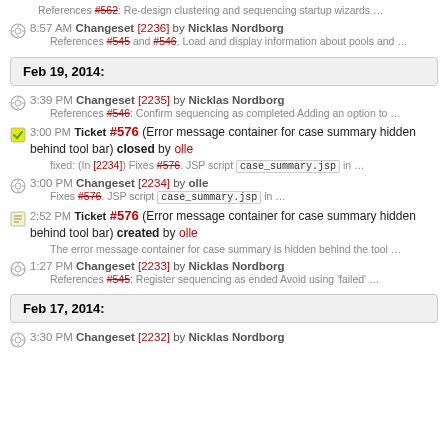References #562: Re-design clustering and sequencing startup wizards …
8:57 AM Changeset [2236] by Nicklas Nordborg — References #545 and #546. Load and display information about pools and …
Feb 19, 2014:
3:39 PM Changeset [2235] by Nicklas Nordborg — References #546: Confirm sequencing as completed Adding an option to …
3:00 PM Ticket #576 (Error message container for case summary hidden behind tool bar) closed by olle — fixed: (In [2234]) Fixes #576. JSP script case_summary.jsp in …
3:00 PM Changeset [2234] by olle — Fixes #576. JSP script case_summary.jsp in …
2:52 PM Ticket #576 (Error message container for case summary hidden behind tool bar) created by olle — The error message container for case summary is hidden behind the tool …
1:27 PM Changeset [2233] by Nicklas Nordborg — References #545: Register sequencing as ended Avoid using 'failed' …
Feb 17, 2014:
3:30 PM Changeset [2232] by Nicklas Nordborg